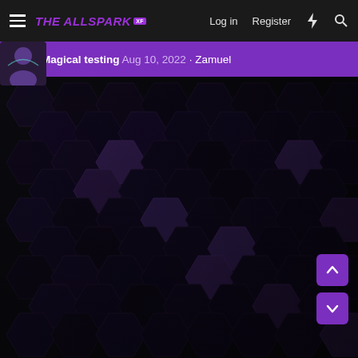THE ALLSPARK | Log in  Register
Magical testing Aug 10, 2022 · Zamuel
[Figure (screenshot): Dark hexagonal honeycomb pattern background with purple-tinted hexagons on black, covering the main content area of the page.]
[Figure (other): Purple scroll-up and scroll-down arrow buttons in bottom-right corner]